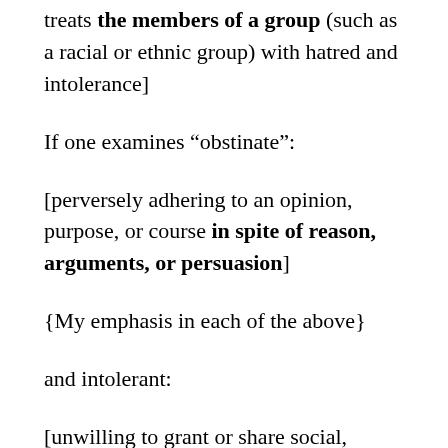treats the members of a group (such as a racial or ethnic group) with hatred and intolerance]
If one examines “obstinate”:
[perversely adhering to an opinion, purpose, or course in spite of reason, arguments, or persuasion]
{My emphasis in each of the above}
and intolerant:
[unwilling to grant or share social, political, or professional rights]
Now to begin with, I have a problem with